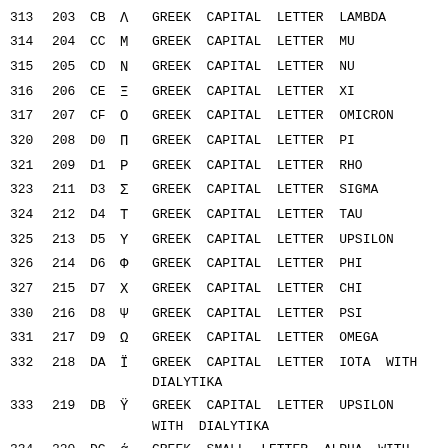| Oct | Dec | Hex | Char | Name |
| --- | --- | --- | --- | --- |
| 313 | 203 | CB | Λ | GREEK CAPITAL LETTER LAMBDA |
| 314 | 204 | CC | Μ | GREEK CAPITAL LETTER MU |
| 315 | 205 | CD | Ν | GREEK CAPITAL LETTER NU |
| 316 | 206 | CE | Ξ | GREEK CAPITAL LETTER XI |
| 317 | 207 | CF | Ο | GREEK CAPITAL LETTER OMICRON |
| 320 | 208 | D0 | Π | GREEK CAPITAL LETTER PI |
| 321 | 209 | D1 | Ρ | GREEK CAPITAL LETTER RHO |
| 323 | 211 | D3 | Σ | GREEK CAPITAL LETTER SIGMA |
| 324 | 212 | D4 | Τ | GREEK CAPITAL LETTER TAU |
| 325 | 213 | D5 | Υ | GREEK CAPITAL LETTER UPSILON |
| 326 | 214 | D6 | Φ | GREEK CAPITAL LETTER PHI |
| 327 | 215 | D7 | Χ | GREEK CAPITAL LETTER CHI |
| 330 | 216 | D8 | Ψ | GREEK CAPITAL LETTER PSI |
| 331 | 217 | D9 | Ω | GREEK CAPITAL LETTER OMEGA |
| 332 | 218 | DA | Ϊ | GREEK CAPITAL LETTER IOTA WITH DIALYTIKA |
| 333 | 219 | DB | Ϋ | GREEK CAPITAL LETTER UPSILON WITH DIALYTIKA |
| 334 | 220 | DC | ά | GREEK SMALL LETTER ALPHA WITH |